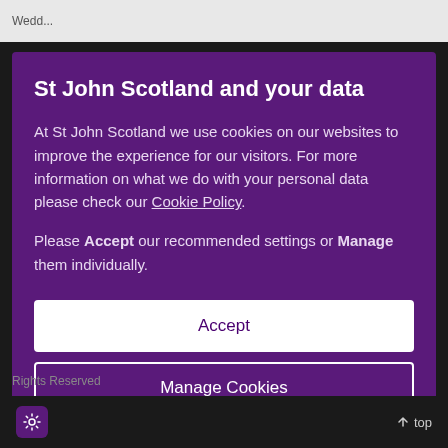Wedd...
St John Scotland and your data
At St John Scotland we use cookies on our websites to improve the experience for our visitors. For more information on what we do with your personal data please check our Cookie Policy.
Please Accept our recommended settings or Manage them individually.
Accept
Manage Cookies
Rights Reserved
top